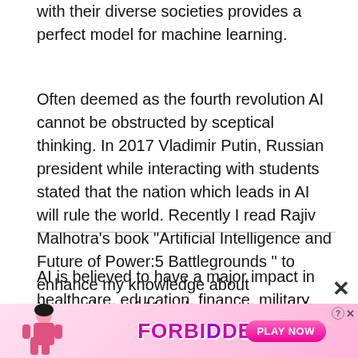with their diverse societies provides a perfect model for machine learning.
Often deemed as the fourth revolution AI cannot be obstructed by sceptical thinking. In 2017 Vladimir Putin, Russian president while interacting with students stated that the nation which leads in AI will rule the world. Recently I read Rajiv Malhotra’s book “Artificial Intelligence and Future of Power:5 Battlegrounds ” to enhance my knowledge about Implications of AI and progress made by several countries concerning this technology.
AI is believed to have a major impact in healthcare, education, finance, military, transportation, Agriculture etc.
[Figure (other): Advertisement banner for a game/app labeled FORBIDDEN with a PLAY NOW button and a close (X) button, featuring a stylized female cartoon figure]